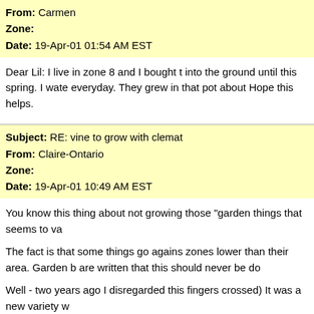From: Carmen
Zone:
Date: 19-Apr-01 01:54 AM EST
Dear Lil: I live in zone 8 and I bought t into the ground until this spring. I wate everyday. They grew in that pot about Hope this helps.
Subject: RE: vine to grow with clemat From: Claire-Ontario
Zone:
Date: 19-Apr-01 10:49 AM EST
You know this thing about not growing those "garden things that seems to va
The fact is that some things go agains zones lower than their area. Garden b are written that this should never be do
Well - two years ago I disregarded this fingers crossed) It was a new variety w
I did wrap some chicken wire about 2 show, the light green leaves and pink l climbs up into the crabapple at the cor vigorous that its in anyway choking ou